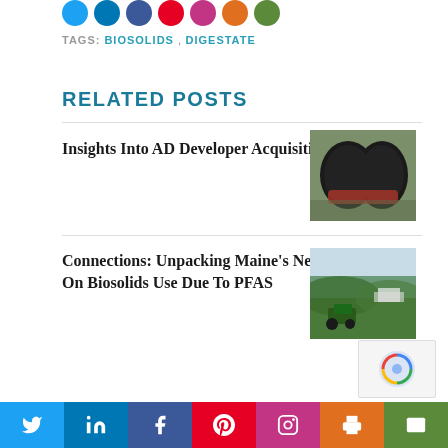[Figure (other): Row of social media icon circles at top of page]
TAGS:  BIOSOLIDS ,  DIGESTATE
RELATED POSTS
Insights Into AD Developer Acquisition
[Figure (photo): Aerial photo of large black anaerobic digester tanks]
Connections: Unpacking Maine's New Ban On Biosolids Use Due To PFAS
[Figure (photo): Photo of farming tractor in green field]
Social share bar: Twitter, LinkedIn, Facebook, Pinterest, Instagram, Print, Email